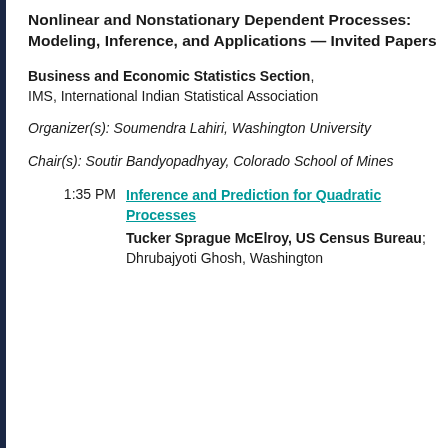Nonlinear and Nonstationary Dependent Processes: Modeling, Inference, and Applications — Invited Papers
Business and Economic Statistics Section, IMS, International Indian Statistical Association
Organizer(s): Soumendra Lahiri, Washington University
Chair(s): Soutir Bandyopadhyay, Colorado School of Mines
1:35 PM  Inference and Prediction for Quadratic Processes  Tucker Sprague McElroy, US Census Bureau; Dhrubajyoti Ghosh, Washington